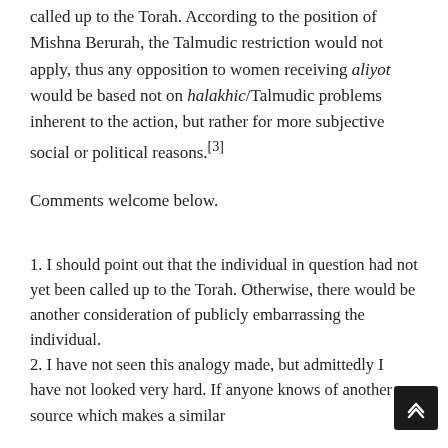called up to the Torah. According to the position of Mishna Berurah, the Talmudic restriction would not apply, thus any opposition to women receiving aliyot would be based not on halakhic/Talmudic problems inherent to the action, but rather for more subjective social or political reasons.[3]
Comments welcome below.
1. I should point out that the individual in question had not yet been called up to the Torah. Otherwise, there would be another consideration of publicly embarrassing the individual.
2. I have not seen this analogy made, but admittedly I have not looked very hard. If anyone knows of another source which makes a similar